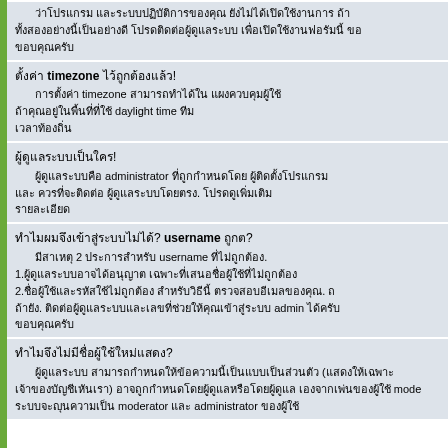[Thai text block - continuation of previous content]
[Thai] timezone [Thai]!
[Thai] timezone [Thai] daylight time [Thai]
[Thai]!
[Thai] administrator [Thai]
[Thai] username [Thai]?
[Thai] 2 [Thai] username [Thai].
1.[Thai]
2.[Thai] admin [Thai]
[Thai]?
[Thai] (moderator [Thai] administrator [Thai])